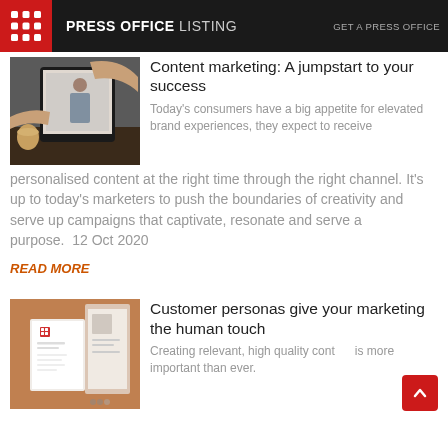PRESS OFFICE LISTING   GET A PRESS OFFICE
[Figure (photo): Person holding tablet showing marketing content, coffee cup visible]
Content marketing: A jumpstart to your success
Today's consumers have a big appetite for elevated brand experiences, they expect to receive personalised content at the right time through the right channel. It's up to today's marketers to push the boundaries of creativity and serve up campaigns that captivate, resonate and serve a purpose.  12 Oct 2020
READ MORE
[Figure (photo): Brown/terracotta background with printed workbook document showing customer personas content]
Customer personas give your marketing the human touch
Creating relevant, high quality content is more important than ever.